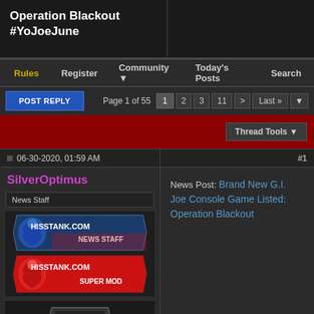Operation Blackout #YoJoeJune
Rules | Register | Community | Today's Posts | Search
POST REPLY  Page 1 of 55  1 2 3 11 > Last »
Thread Tools
06-30-2020, 01:59 AM
#1
SilverOptimus
News Staff
[Figure (illustration): HissTank.com News Staff and Super Mod badges with Cobra logo]
[Figure (illustration): G.I. Joe character avatar - silver and black hawk/eagle emblem]
News Post: Brand New G.I. Joe Console Game Listed: Operation Blackout